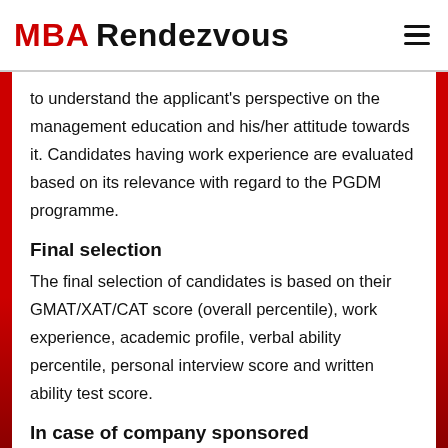MBA Rendezvous
to understand the applicant's perspective on the management education and his/her attitude towards it. Candidates having work experience are evaluated based on its relevance with regard to the PGDM programme.
Final selection
The final selection of candidates is based on their GMAT/XAT/CAT score (overall percentile), work experience, academic profile, verbal ability percentile, personal interview score and written ability test score.
In case of company sponsored